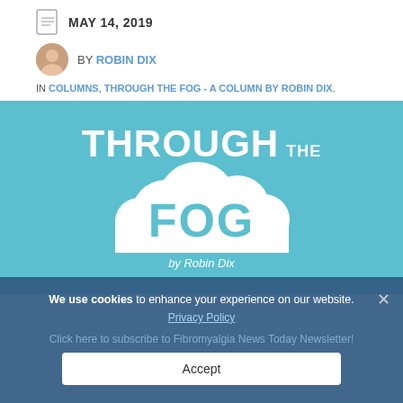MAY 14, 2019
BY ROBIN DIX
IN COLUMNS, THROUGH THE FOG - A COLUMN BY ROBIN DIX.
[Figure (illustration): Teal/aqua background banner with white bold text 'THROUGH THE' and a white cloud shape containing teal text 'FOG', with italic white text 'by Robin Dix' below.]
We use cookies to enhance your experience on our website. Privacy Policy
Click here to subscribe to Fibromyalgia News Today Newsletter!
Accept